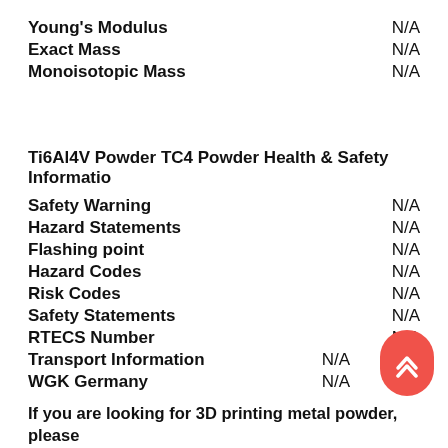Young's Modulus    N/A
Exact Mass    N/A
Monoisotopic Mass    N/A
Ti6Al4V Powder TC4 Powder Health & Safety Information
Safety Warning    N/A
Hazard Statements    N/A
Flashing point    N/A
Hazard Codes    N/A
Risk Codes    N/A
Safety Statements    N/A
RTECS Number    N/A
Transport Information    N/A
WGK Germany    N/A
If you are looking for 3D printing metal powder, please